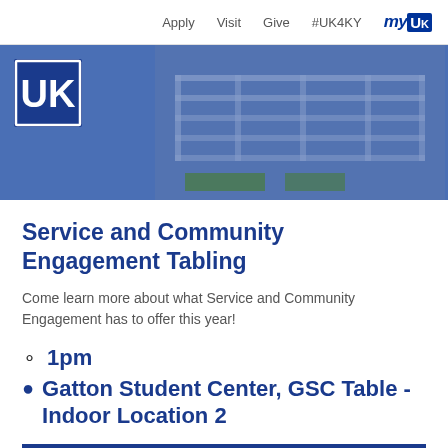Apply   Visit   Give   #UK4KY   myUK
[Figure (screenshot): University of Kentucky blue banner with UK wildcat logo on the left and a photo of indoor facility tables on the right]
Service and Community Engagement Tabling
Come learn more about what Service and Community Engagement has to offer this year!
1pm
Gatton Student Center, GSC Table - Indoor Location 2
I'm Interested